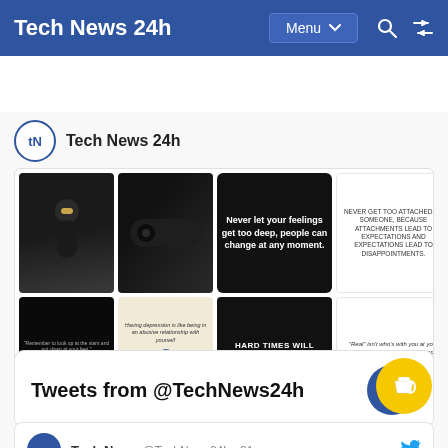Tech News 24h  Menu  🔍  ⇄
[Figure (screenshot): Pinterest widget for Tech News 24h showing a grid of pinned images including tech gadgets (speakers), motivational quote cards about feelings, attachments, disappointment, hard times, and Stephen Hawking quotes, followed by a 'Follow On Pinterest' button]
Tweets from @TechNews24h
Tech News @TechNews24h · 21m